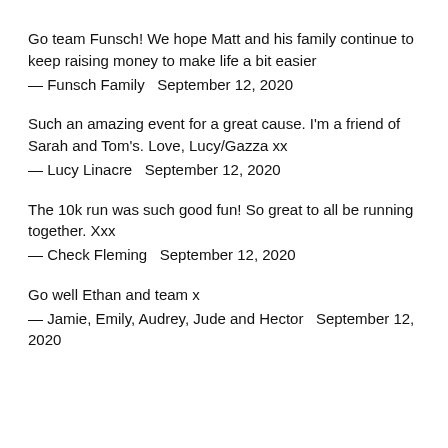Go team Funsch! We hope Matt and his family continue to keep raising money to make life a bit easier
— Funsch Family   September 12, 2020
Such an amazing event for a great cause. I'm a friend of Sarah and Tom's. Love, Lucy/Gazza xx
— Lucy Linacre   September 12, 2020
The 10k run was such good fun! So great to all be running together. Xxx
— Check Fleming   September 12, 2020
Go well Ethan and team x
— Jamie, Emily, Audrey, Jude and Hector   September 12, 2020